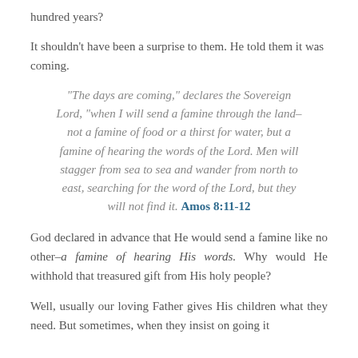hundred years?
It shouldn't have been a surprise to them. He told them it was coming.
“The days are coming,” declares the Sovereign Lord, “when I will send a famine through the land–not a famine of food or a thirst for water, but a famine of hearing the words of the Lord. Men will stagger from sea to sea and wander from north to east, searching for the word of the Lord, but they will not find it. Amos 8:11-12
God declared in advance that He would send a famine like no other–a famine of hearing His words. Why would He withhold that treasured gift from His holy people?
Well, usually our loving Father gives His children what they need. But sometimes, when they insist on going it...